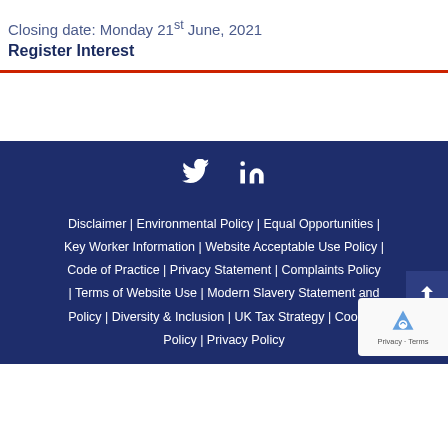Closing date: Monday 21st June, 2021
Register Interest
Disclaimer | Environmental Policy | Equal Opportunities | Key Worker Information | Website Acceptable Use Policy | Code of Practice | Privacy Statement | Complaints Policy | Terms of Website Use | Modern Slavery Statement and Policy | Diversity & Inclusion | UK Tax Strategy | Cookies Policy | Privacy Policy